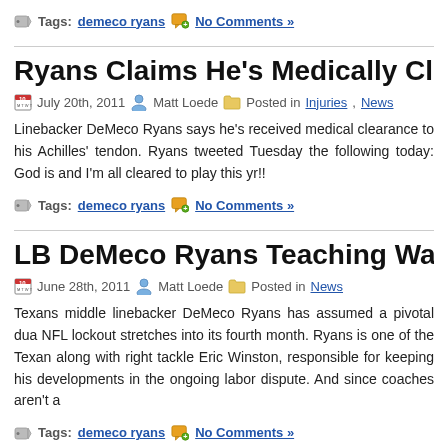Tags: demeco ryans   No Comments »
Ryans Claims He's Medically Cleared to R
July 20th, 2011   Matt Loede   Posted in Injuries, News
Linebacker DeMeco Ryans says he's received medical clearance to his Achilles' tendon. Ryans tweeted Tuesday the following today: God is and I'm all cleared to play this yr!!
Tags: demeco ryans   No Comments »
LB DeMeco Ryans Teaching Wade Phillip'
June 28th, 2011   Matt Loede   Posted in News
Texans middle linebacker DeMeco Ryans has assumed a pivotal dua NFL lockout stretches into its fourth month. Ryans is one of the Texan along with right tackle Eric Winston, responsible for keeping his developments in the ongoing labor dispute. And since coaches aren't a
Tags: demeco ryans   No Comments »